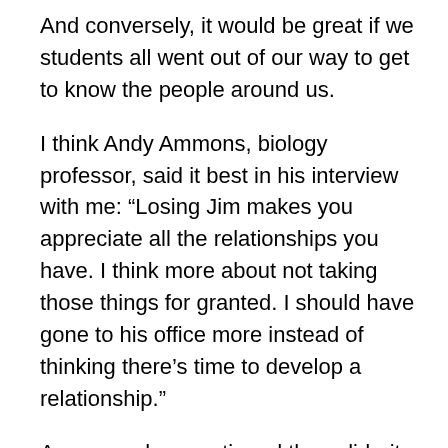And conversely, it would be great if we students all went out of our way to get to know the people around us.
I think Andy Ammons, biology professor, said it best in his interview with me: “Losing Jim makes you appreciate all the relationships you have. I think more about not taking those things for granted. I should have gone to his office more instead of thinking there’s time to develop a relationship.”
Ammons also mentioned the solidarity that the biology department is showing right now. Faculty and students have sat together and reflected on Miller’s life, and Ammons noted that just as faculty ask students how they’re